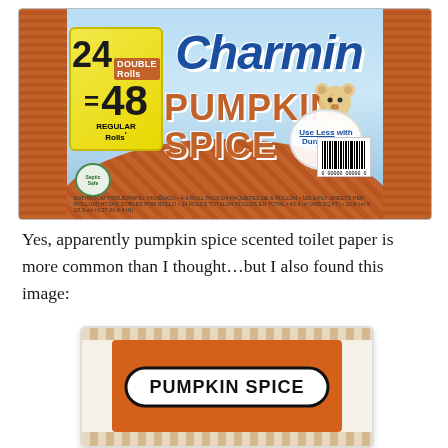[Figure (photo): Charmin Pumpkin Spice toilet paper package, 24 Double Rolls = 48 Regular Rolls, featuring Use Less with DuroClean Texture badge, bear mascot, barcode, and pumpkin/cinnamon imagery]
Yes, apparently pumpkin spice scented toilet paper is more common than I thought...but I also found this image:
[Figure (photo): Pumpkin Spice branded bandage/product package with orange center panel and 'PUMPKIN SPICE' label in a white rounded-rectangle badge]